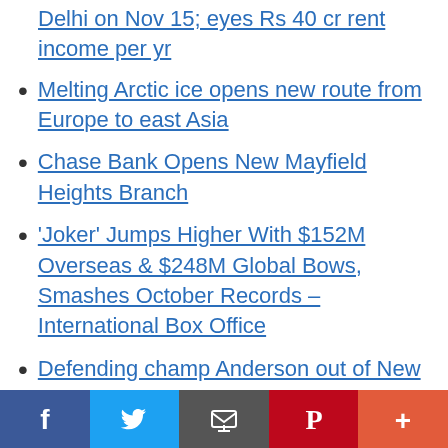Delhi on Nov 15; eyes Rs 40 cr rent income per yr
Melting Arctic ice opens new route from Europe to east Asia
Chase Bank Opens New Mayfield Heights Branch
'Joker' Jumps Higher With $152M Overseas & $248M Global Bows, Smashes October Records – International Box Office
Defending champ Anderson out of New York Open with injury
Apple To Open New Offices In Culver City
Keyrus Strengthens Tableau Partnership, Launches New Analytics Platform at Tableau
Facebook | Twitter | Email | Pinterest | More